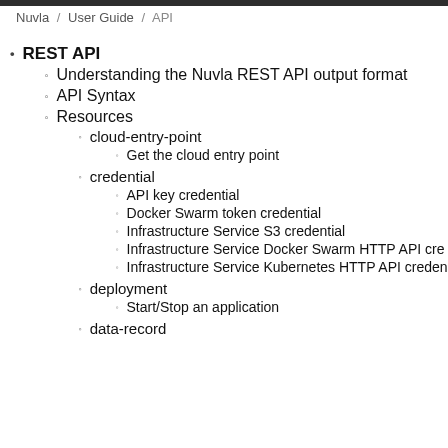Nuvla / User Guide / API
REST API
Understanding the Nuvla REST API output format
API Syntax
Resources
cloud-entry-point
Get the cloud entry point
credential
API key credential
Docker Swarm token credential
Infrastructure Service S3 credential
Infrastructure Service Docker Swarm HTTP API cre
Infrastructure Service Kubernetes HTTP API creden
deployment
Start/Stop an application
data-record